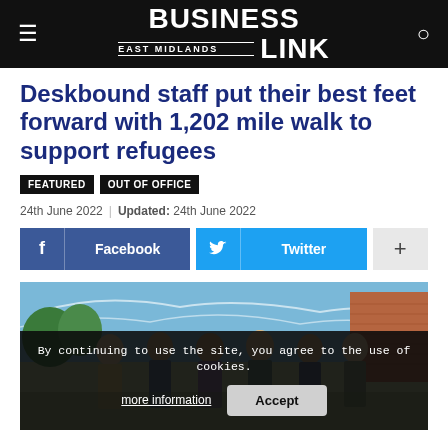Business Link East Midlands
Deskbound staff put their best feet forward with 1,202 mile walk to support refugees
FEATURED   OUT OF OFFICE
24th June 2022  |  Updated: 24th June 2022
[Figure (photo): Group of women standing outdoors in front of a brick building with blue sky background, with cookie consent overlay: 'By continuing to use the site, you agree to the use of cookies.' with 'more information' and 'Accept' buttons.]